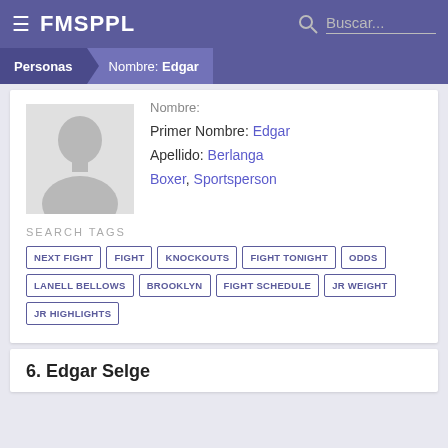FMSPPL
Personas  Nombre: Edgar
Nombre: (partial)
Primer Nombre: Edgar
Apellido: Berlanga
Boxer, Sportsperson
SEARCH TAGS
NEXT FIGHT
FIGHT
KNOCKOUTS
FIGHT TONIGHT
ODDS
LANELL BELLOWS
BROOKLYN
FIGHT SCHEDULE
JR WEIGHT
JR HIGHLIGHTS
6. Edgar Selge